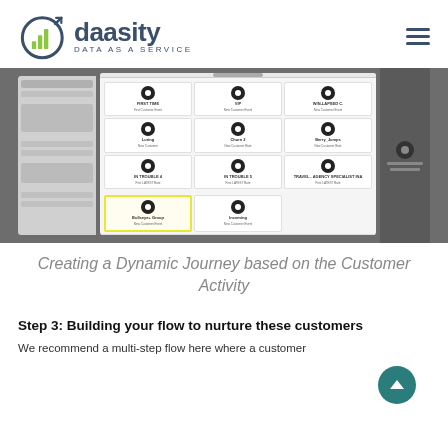[Figure (logo): Daasity logo with bar chart icon inside a circle with upward arrow, text 'daasity' and subtitle 'DATA AS A SERVICE']
[Figure (screenshot): Screenshot of a Daasity web application showing a dialog for Creating a Dynamic Journey based on Customer Activity, with a grid of customer activity trigger options]
Creating a Dynamic Journey based on the Customer Activity
Step 3: Building your flow to nurture these customers
We recommend a multi-step flow here where a customer